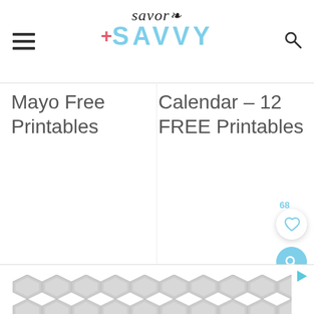Savor + SAVVY
Mayo Free Printables
Calendar – 12 FREE Printables
68
[Figure (infographic): Ad banner with geometric hexagon pattern and play button icon]